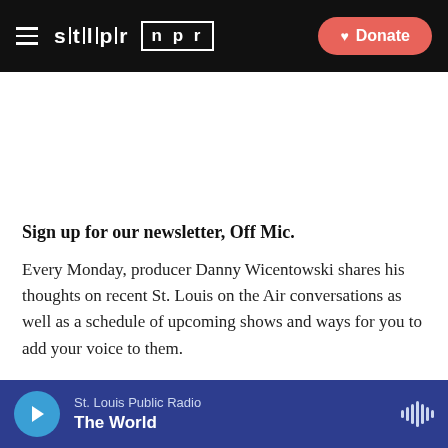STLPR | NPR — Donate
Sign up for our newsletter, Off Mic.
Every Monday, producer Danny Wicentowski shares his thoughts on recent St. Louis on the Air conversations as well as a schedule of upcoming shows and ways for you to add your voice to them.
St. Louis Public Radio — The World